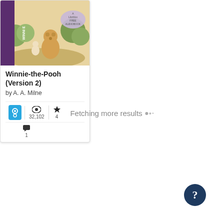[Figure (screenshot): Book card for Winnie-the-Pooh (Version 2) audiobook showing cover image, title, author, and stats (32,102 views, 4 favorites, 1 comment)]
Fetching more results